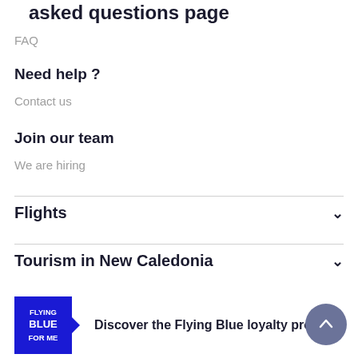asked questions page
FAQ
Need help ?
Contact us
Join our team
We are hiring
Flights
Tourism in New Caledonia
Discover the Flying Blue loyalty program